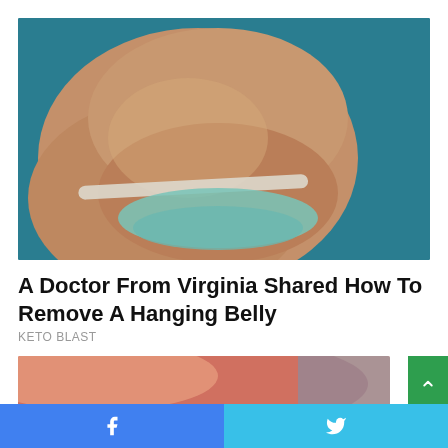[Figure (photo): Side profile photo of a person's midsection showing a hanging belly, wearing a light teal/mint bikini bottom against a teal blue background]
A Doctor From Virginia Shared How To Remove A Hanging Belly
KETO BLAST
[Figure (photo): Partial side profile photo of a person's midsection, pink/peach skin tones, cropped]
Facebook share button | Twitter share button